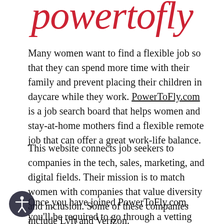powertofly
Many women want to find a flexible job so that they can spend more time with their family and prevent placing their children in daycare while they work. PowerToFly.com is a job search board that helps women and stay-at-home mothers find a flexible remote job that can offer a great work-life balance.
This website connects job seekers to companies in the tech, sales, marketing, and digital fields. Their mission is to match women with companies that value diversity and inclusion. Some of these companies include Lyft and Verizon.
Once you have joined PowerToFly.com, you'll be required to go through a vetting process which includes being matched to a potential employer and